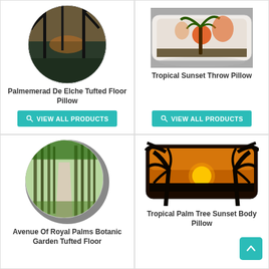[Figure (photo): Round tufted floor pillow with palm trees silhouette against a sunset sky]
Palmemerad De Elche Tufted Floor Pillow
VIEW ALL PRODUCTS
[Figure (photo): Rectangular throw pillow with tropical sunset and palm tree illustration]
Tropical Sunset Throw Pillow
VIEW ALL PRODUCTS
[Figure (photo): Round tufted floor pillow with avenue of royal palms in a botanic garden]
Avenue Of Royal Palms Botanic Garden Tufted Floor
[Figure (photo): Rectangular body pillow with tropical palm tree sunset scene]
Tropical Palm Tree Sunset Body Pillow